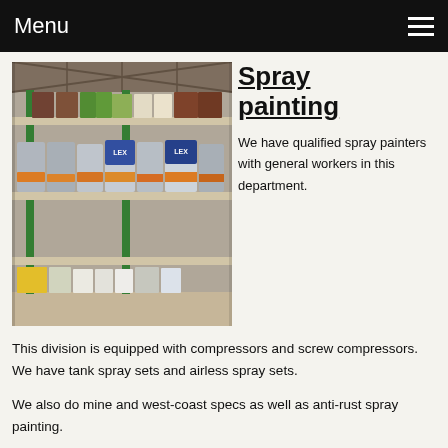Menu
Spray painting
[Figure (photo): Indoor warehouse/storage shelving stocked with rows of paint cans and containers of various sizes and colors including white, green, silver, and orange.]
We have qualified spray painters with general workers in this department.
This division is equipped with compressors and screw compressors.  We have tank spray sets and airless spray sets.
We also do mine and west-coast specs as well as anti-rust spray painting.